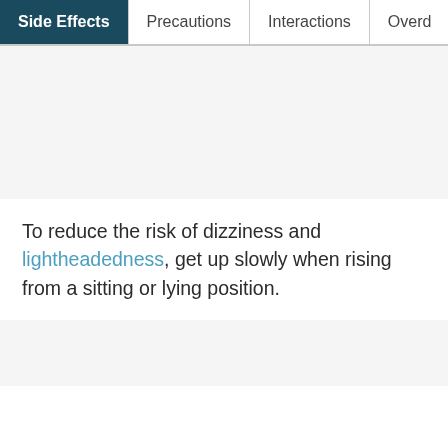Side Effects | Precautions | Interactions | Overd
To reduce the risk of dizziness and lightheadedness, get up slowly when rising from a sitting or lying position.